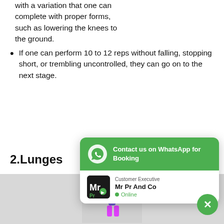with a variation that one can complete with proper forms, such as lowering the knees to the ground.
If one can perform 10 to 12 reps without falling, stopping short, or trembling uncontrolled, they can go on to the next stage.
2.Lunges
[Figure (photo): Person performing lunges exercise, wearing blue top and pink pants, gray background]
[Figure (screenshot): WhatsApp contact popup with green header saying 'Contact us on WhatsApp for Booking', showing Mr Pr And Co customer executive as Online]